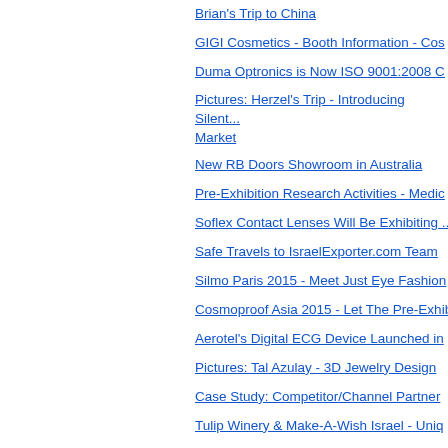Brian's Trip to China
GIGI Cosmetics - Booth Information - Cos...
Duma Optronics is Now ISO 9001:2008 C...
Pictures: Herzel's Trip - Introducing Silent... Market
New RB Doors Showroom in Australia
Pre-Exhibition Research Activities - Medic...
Soflex Contact Lenses Will Be Exhibiting ...
Safe Travels to IsraelExporter.com Team ...
Silmo Paris 2015 - Meet Just Eye Fashion...
Cosmoprof Asia 2015 - Let The Pre-Exhib...
Aerotel's Digital ECG Device Launched in...
Pictures: Tal Azulay - 3D Jewelry Design
Case Study: Competitor/Channel Partner...
Tulip Winery & Make-A-Wish Israel - Uniq...